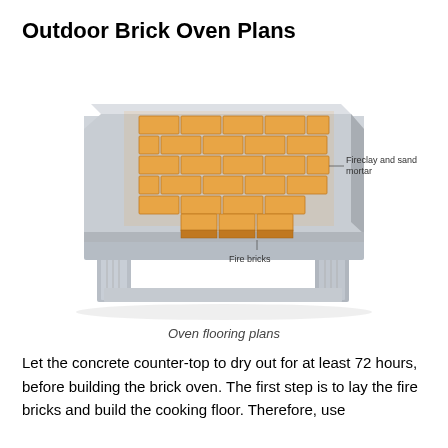Outdoor Brick Oven Plans
[Figure (illustration): Isometric 3D diagram of an outdoor brick oven base/counter showing fire bricks laid in a pattern on the concrete counter-top surface, with labels pointing to 'Fireclay and sand mortar' and 'Fire bricks'. The structure has a concrete slab top supported by pillar-style legs.]
Oven flooring plans
Let the concrete counter-top to dry out for at least 72 hours, before building the brick oven. The first step is to lay the fire bricks and build the cooking floor. Therefore, use